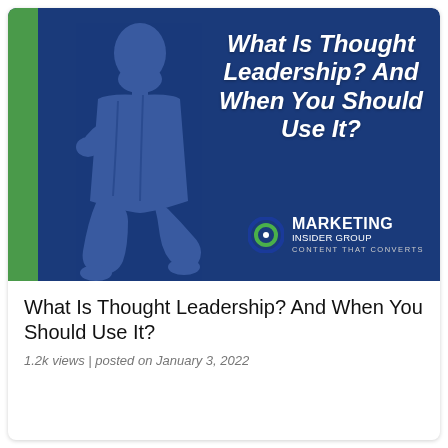[Figure (illustration): A blue-background image with a green vertical bar on the left, a faded classical philosopher sculpture silhouette (seated, thinking pose), bold italic white text reading 'What Is Thought Leadership? And When You Should Use It?', and the Marketing Insider Group logo (circular icon + text 'MARKETING INSIDER GROUP CONTENT THAT CONVERTS') in the lower right.]
What Is Thought Leadership? And When You Should Use It?
1.2k views | posted on January 3, 2022